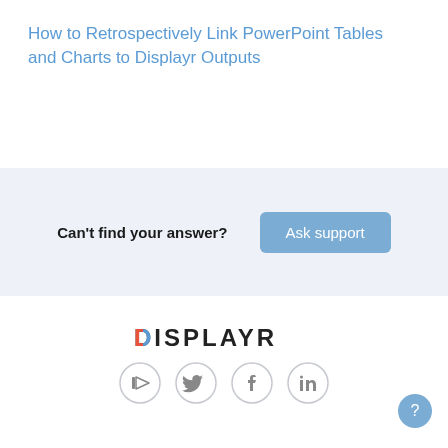How to Retrospectively Link PowerPoint Tables and Charts to Displayr Outputs
Can't find your answer?
Ask support
[Figure (logo): DISPLAYR logo with colorful D accent]
[Figure (infographic): Social media icons: YouTube, Twitter, Facebook, LinkedIn in circular borders]
[Figure (other): Help/question mark bubble button in bottom right corner]